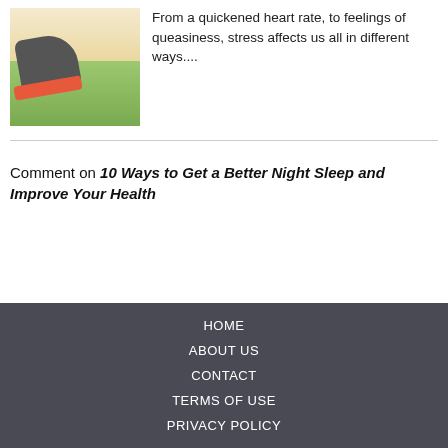[Figure (photo): Photo of person running on grass, showing shoe close-up from low angle with sunlit grass in background]
From a quickened heart rate, to feelings of queasiness, stress affects us all in different ways....
Comment on 10 Ways to Get a Better Night Sleep and Improve Your Health
HOME
ABOUT US
CONTACT
TERMS OF USE
PRIVACY POLICY